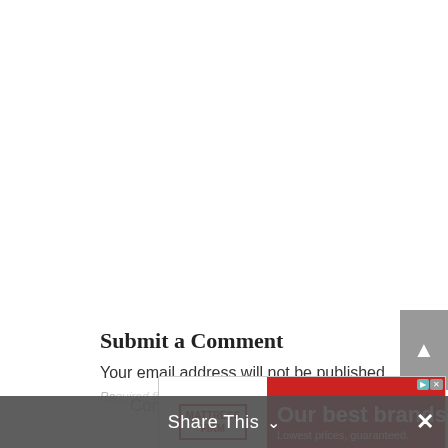Submit a Comment
Your email address will not be published.
[Figure (other): Mattress Firm advertisement banner: white left panel with Mattress Firm logo in red, red right panel with white bold text 'Our best brands.' and subtext 'Lowest prices, guaranteed.']
Comment *
Share This